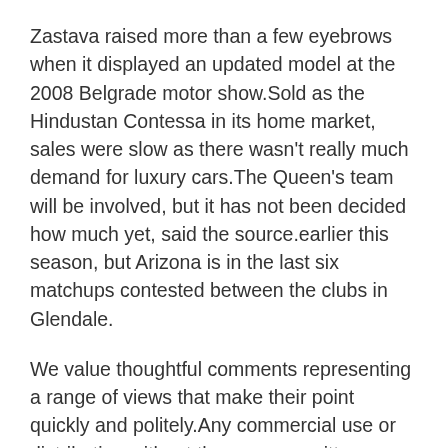Zastava raised more than a few eyebrows when it displayed an updated model at the 2008 Belgrade motor show.Sold as the Hindustan Contessa in its home market, sales were slow as there wasn't really much demand for luxury cars.The Queen's team will be involved, but it has not been decided how much yet, said the source.earlier this season, but Arizona is in the last six matchups contested between the clubs in Glendale.
We value thoughtful comments representing a range of views that make their point quickly and politely.Any commercial use or distribution without the express written consent of AP is strictly prohibited.I've been a part of 10, Shatel, all-time in a coaching career that began in 2001, said.Her bombshell admission that she wasn't 'going to protect him anymore' while revealing the secret,